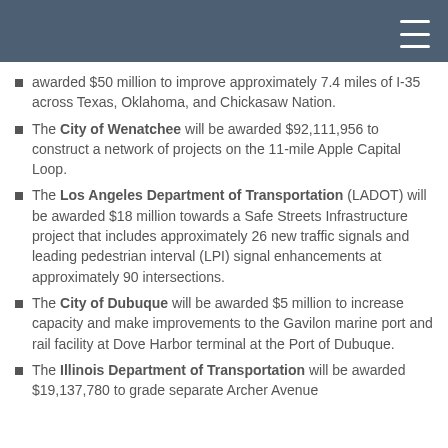awarded $50 million to improve approximately 7.4 miles of I-35 across Texas, Oklahoma, and Chickasaw Nation.
The City of Wenatchee will be awarded $92,111,956 to construct a network of projects on the 11-mile Apple Capital Loop.
The Los Angeles Department of Transportation (LADOT) will be awarded $18 million towards a Safe Streets Infrastructure project that includes approximately 26 new traffic signals and leading pedestrian interval (LPI) signal enhancements at approximately 90 intersections.
The City of Dubuque will be awarded $5 million to increase capacity and make improvements to the Gavilon marine port and rail facility at Dove Harbor terminal at the Port of Dubuque.
The Illinois Department of Transportation will be awarded $19,137,780 to grade separate Archer Avenue